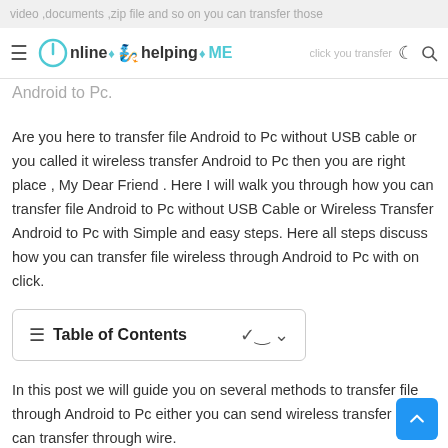video ,documents ,zip file and so on you can transfer those w... Online helping ME click you transfer file Android to Pc.
Android to Pc.
Are you here to transfer file Android to Pc without USB cable or you called it wireless transfer Android to Pc then you are right place , My Dear Friend . Here I will walk you through how you can transfer file Android to Pc without USB Cable or Wireless Transfer Android to Pc with Simple and easy steps. Here all steps discuss how you can transfer file wireless through Android to Pc with on click.
Table of Contents
In this post we will guide you on several methods to transfer file through Android to Pc either you can send wireless transfer or you can transfer through wire.